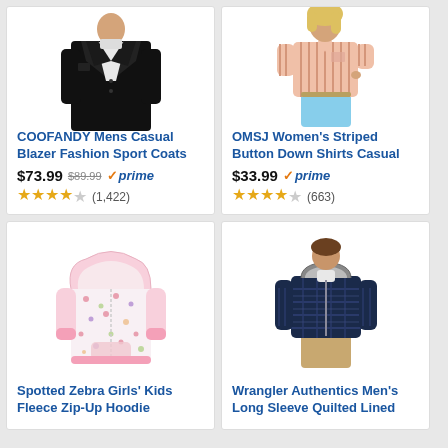[Figure (photo): Black men's casual blazer/sport coat on mannequin]
COOFANDY Mens Casual Blazer Fashion Sport Coats
$73.99 $89.99 ✓prime ★★★★ (1,422)
[Figure (photo): Woman wearing pink striped button-down shirt with denim shorts]
OMSJ Women's Striped Button Down Shirts Casual
$33.99 ✓prime ★★★★ (663)
[Figure (photo): Girls' pink floral fleece zip-up hoodie]
Spotted Zebra Girls' Kids Fleece Zip-Up Hoodie
[Figure (photo): Boy wearing navy plaid quilted lined long sleeve jacket]
Wrangler Authentics Men's Long Sleeve Quilted Lined